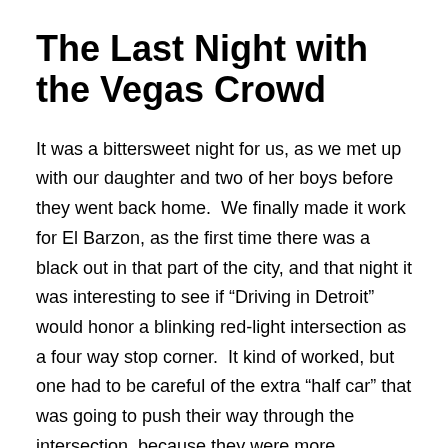The Last Night with the Vegas Crowd
It was a bittersweet night for us, as we met up with our daughter and two of her boys before they went back home.  We finally made it work for El Barzon, as the first time there was a black out in that part of the city, and that night it was interesting to see if “Driving in Detroit” would honor a blinking red-light intersection as a four way stop corner.  It kind of worked, but one had to be careful of the extra “half car” that was going to push their way through the intersection, because they were more important than the other drivers on the road.  I still kind of get amazed that this restaurant is now considered part of Southwest Detroit, because when I was growing up, that area was not considered it at all, but I know that I am splitting hairs, but